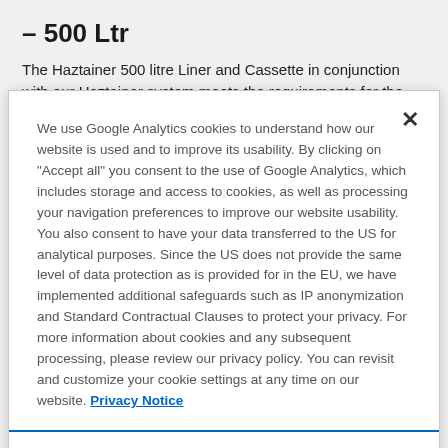– 500 Ltr
The Haztainer 500 litre Liner and Cassette in conjunction with our Haztainer system meets the requirements for the transport
We use Google Analytics cookies to understand how our website is used and to improve its usability. By clicking on "Accept all" you consent to the use of Google Analytics, which includes storage and access to cookies, as well as processing your navigation preferences to improve our website usability. You also consent to have your data transferred to the US for analytical purposes. Since the US does not provide the same level of data protection as is provided for in the EU, we have implemented additional safeguards such as IP anonymization and Standard Contractual Clauses to protect your privacy. For more information about cookies and any subsequent processing, please review our privacy policy. You can revisit and customize your cookie settings at any time on our website. Privacy Notice
Cookies Settings